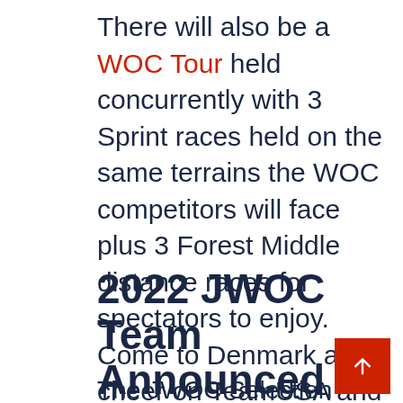There will also be a WOC Tour held concurrently with 3 Sprint races held on the same terrains the WOC competitors will face plus 3 Forest Middle distance races for spectators to enjoy. Come to Denmark and cheer on TeamUSA and get a solid week of races in for yourself as well!
2022 JWOC Team Announced
The JWOC Selection Committee (Tori Boris,